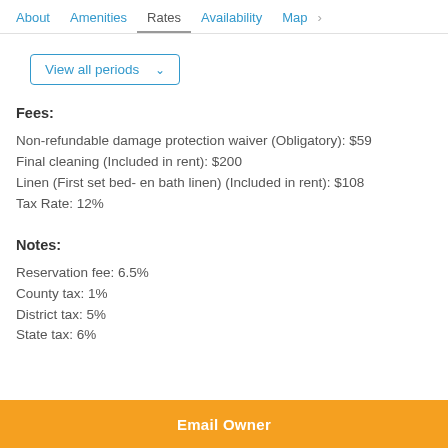About   Amenities   Rates   Availability   Map   >
View all periods ∨
Fees:
Non-refundable damage protection waiver (Obligatory): $59
Final cleaning (Included in rent): $200
Linen (First set bed- en bath linen) (Included in rent): $108
Tax Rate: 12%
Notes:
Reservation fee: 6.5%
County tax: 1%
District tax: 5%
State tax: 6%
Email Owner